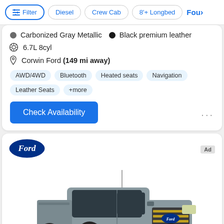Filter | Diesel | Crew Cab | 8'+ Longbed | Fou >
Carbonized Gray Metallic  •  Black premium leather
6.7L 8cyl
Corwin Ford (149 mi away)
AWD/4WD  Bluetooth  Heated seats  Navigation  Leather Seats  +more
Check Availability
[Figure (photo): Ford Super Duty pickup truck in gray color, front 3/4 view, shown in a Ford advertisement card]